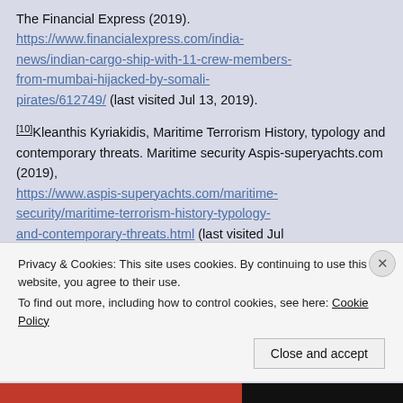The Financial Express (2019). https://www.financialexpress.com/india-news/indian-cargo-ship-with-11-crew-members-from-mumbai-hijacked-by-somali-pirates/612749/ (last visited Jul 13, 2019).
[10] Kleanthis Kyriakidis, Maritime Terrorism History, typology and contemporary threats. Maritime security Aspis-superyachts.com (2019), https://www.aspis-superyachts.com/maritime-security/maritime-terrorism-history-typology-and-contemporary-threats.html (last visited Jul
Privacy & Cookies: This site uses cookies. By continuing to use this website, you agree to their use.
To find out more, including how to control cookies, see here: Cookie Policy